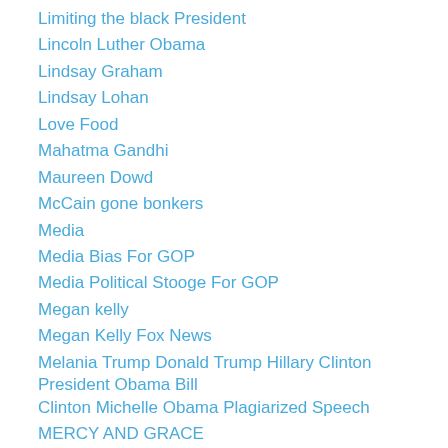Limiting the black President
Lincoln Luther Obama
Lindsay Graham
Lindsay Lohan
Love Food
Mahatma Gandhi
Maureen Dowd
McCain gone bonkers
Media
Media Bias For GOP
Media Political Stooge For GOP
Megan kelly
Megan Kelly Fox News
Melania Trump Donald Trump Hillary Clinton President Obama Bill Clinton Michelle Obama Plagiarized Speech
MERCY AND GRACE
Michelle Obama
Middle-East Time Bomb
Misguided
Mitt Romney